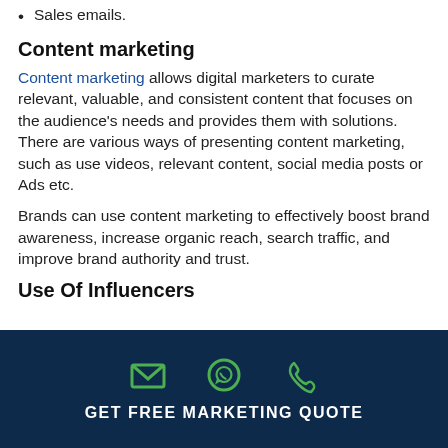Sales emails.
Content marketing
Content marketing allows digital marketers to curate relevant, valuable, and consistent content that focuses on the audience's needs and provides them with solutions. There are various ways of presenting content marketing, such as use videos, relevant content, social media posts or Ads etc.
Brands can use content marketing to effectively boost brand awareness, increase organic reach, search traffic, and improve brand authority and trust.
Use Of Influencers
GET FREE MARKETING QUOTE